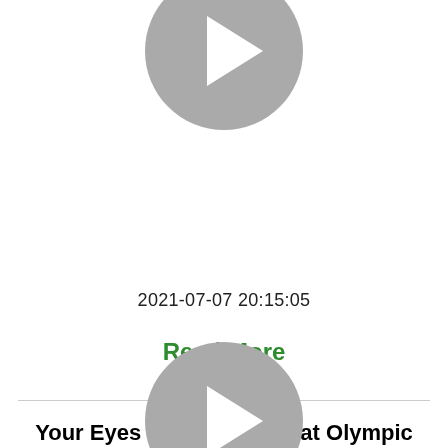[Figure (illustration): Gray circular play button icon, partially cut off at top]
2021-07-07 20:15:05
Read More
Your Eyes Don't Lie on that Olympic Video and @TheGayWhoStrayed
[Figure (illustration): Gray circular play button icon, partially cut off at bottom]